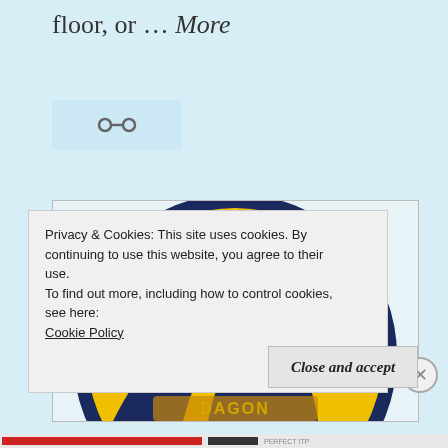floor, or … More
[Figure (other): Share/link icon (chain link symbol) inside a light blue box]
[Figure (logo): Circular logo with yellow/gold background and dark blue dragon or creature silhouette design, partially cropped]
Privacy & Cookies: This site uses cookies. By continuing to use this website, you agree to their use.
To find out more, including how to control cookies, see here: Cookie Policy
Close and accept